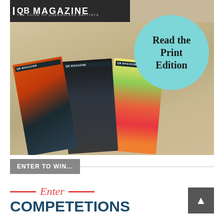[Figure (photo): QB Magazine promotional photo showing three QB Magazine print edition covers arranged on a wooden surface, with a teal circular badge saying 'Read the Print Edition'. The QB Magazine header/logo is visible in the top-left corner of the image.]
ENTER TO WIN...
Enter
COMPETETIONS